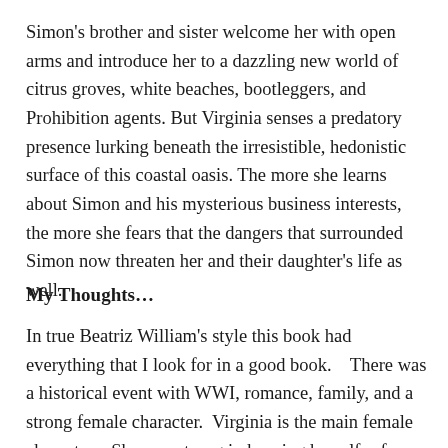Simon's brother and sister welcome her with open arms and introduce her to a dazzling new world of citrus groves, white beaches, bootleggers, and Prohibition agents. But Virginia senses a predatory presence lurking beneath the irresistible, hedonistic surface of this coastal oasis. The more she learns about Simon and his mysterious business interests, the more she fears that the dangers that surrounded Simon now threaten her and their daughter's life as well.
My Thoughts…
In true Beatriz William's style this book had everything that I look for in a good book.    There was a historical event with WWI, romance, family, and a strong female character.  Virginia is the main female character.   She was strong in keeping herself safe while she was driving an ambulance during WWI yet feminine enough to trust a man (Simon) to